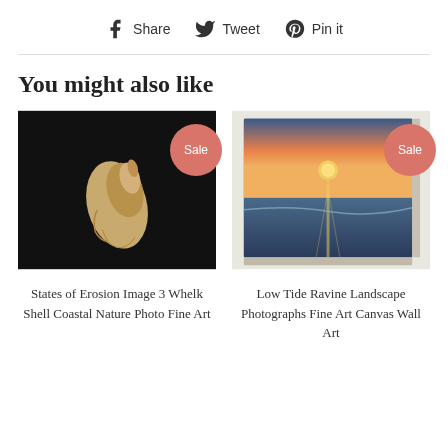Share  Tweet  Pin it
You might also like
[Figure (photo): Canvas print of a whelk shell on black background with Sale badge]
States of Erosion Image 3 Whelk Shell Coastal Nature Photo Fine Art
[Figure (photo): Canvas print of a low tide ravine landscape at sunset with Sale badge]
Low Tide Ravine Landscape Photographs Fine Art Canvas Wall Art